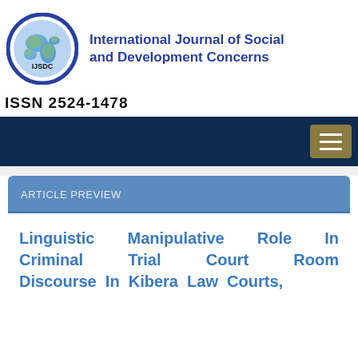[Figure (logo): IJSDC globe logo in blue oval ring with 'IJSDC' text and a globe graphic]
International Journal of Social and Development Concerns
ISSN 2524-1478
[Figure (other): Dark navy navigation bar with hamburger menu button on right]
ARTICLE PREVIEW
Linguistic Manipulative Role In Criminal Trial Court Room Discourse In Kibera Law Courts,